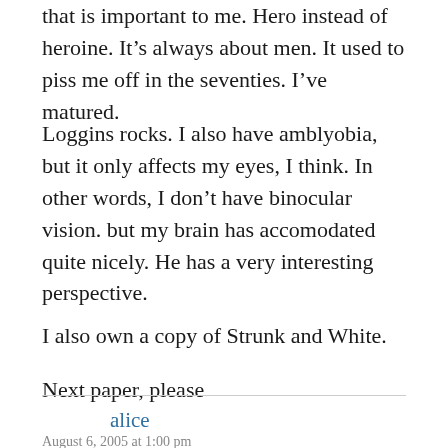that is important to me. Hero instead of heroine. It’s always about men. It used to piss me off in the seventies. I’ve matured.
Loggins rocks. I also have amblyobia, but it only affects my eyes, I think. In other words, I don’t have binocular vision. but my brain has accomodated quite nicely. He has a very interesting perspective.
I also own a copy of Strunk and White.
Next paper, please
alice
August 6, 2005 at 1:00 pm